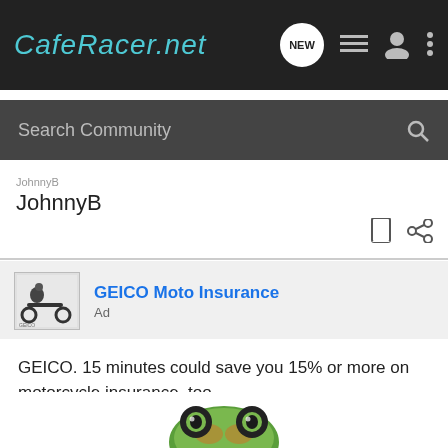CafeRacer.net
Search Community
JohnnyB
[Figure (logo): GEICO Moto Insurance advertisement logo with motorcycle rider icon]
GEICO Moto Insurance
Ad
GEICO. 15 minutes could save you 15% or more on motorcycle insurance, too.
Shopping for a new bike? You could get a shiny, new quote & see how much you could save.
[Figure (illustration): GEICO gecko frog character, partially visible at bottom of page]